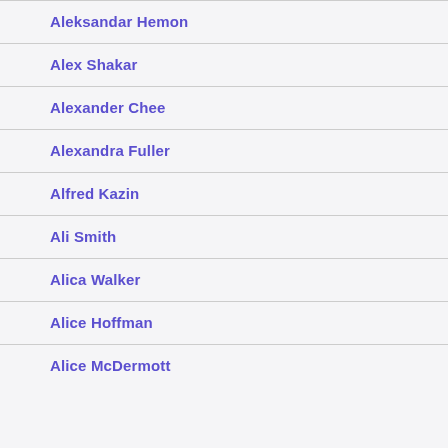Aleksandar Hemon
Alex Shakar
Alexander Chee
Alexandra Fuller
Alfred Kazin
Ali Smith
Alica Walker
Alice Hoffman
Alice McDermott